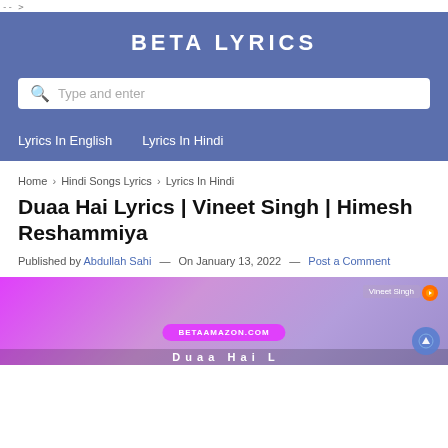-- >
BETA LYRICS
Type and enter
Lyrics In English
Lyrics In Hindi
Home › Hindi Songs Lyrics › Lyrics In Hindi
Duaa Hai Lyrics | Vineet Singh | Himesh Reshammiya
Published by Abdullah Sahi — On January 13, 2022 — Post a Comment
[Figure (photo): Thumbnail image for Duaa Hai song featuring Vineet Singh, with BETAAMAZON.COM branding and purple/pink gradient background]